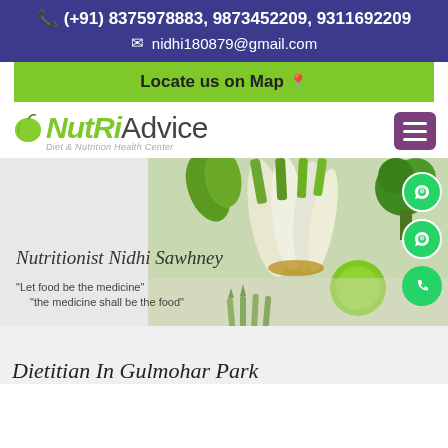(+91) 8375978883, 9873452209, 9311692209 | nidhi180879@gmail.com
Locate us on Map
[Figure (logo): NutriAdvice logo with green apple icon and tagline 'Diet & Nutrition Health Center']
[Figure (screenshot): Hero section with vegetables photo (green onions, broccoli, asparagus, lime), name 'Nutritionist Nidhi Sawhney', quotes 'Let food be the medicine' and 'the medicine shall be the food', with WhatsApp and phone floating buttons]
Dietitian In Gulmohar Park